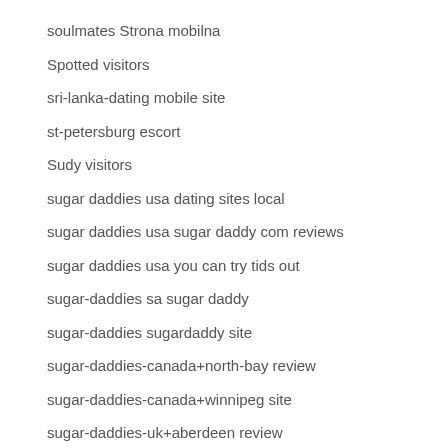soulmates Strona mobilna
Spotted visitors
sri-lanka-dating mobile site
st-petersburg escort
Sudy visitors
sugar daddies usa dating sites local
sugar daddies usa sugar daddy com reviews
sugar daddies usa you can try tids out
sugar-daddies sa sugar daddy
sugar-daddies sugardaddy site
sugar-daddies-canada+north-bay review
sugar-daddies-canada+winnipeg site
sugar-daddies-uk+aberdeen review
sugar-daddies-uk+cardiff review
sugar-daddies-uk+york review